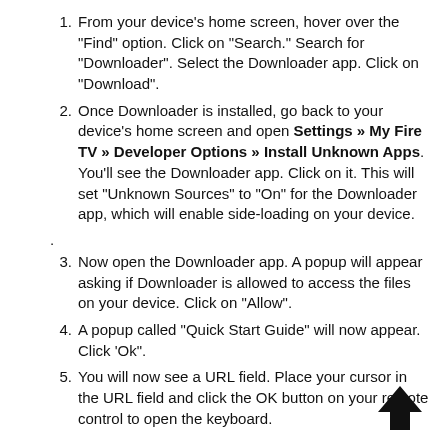From your device's home screen, hover over the "Find" option. Click on "Search." Search for "Downloader". Select the Downloader app. Click on "Download".
Once Downloader is installed, go back to your device's home screen and open Settings » My Fire TV » Developer Options » Install Unknown Apps. You'll see the Downloader app. Click on it. This will set "Unknown Sources" to "On" for the Downloader app, which will enable side-loading on your device.
Now open the Downloader app. A popup will appear asking if Downloader is allowed to access the files on your device. Click on "Allow".
A popup called "Quick Start Guide" will now appear. Click 'Ok".
You will now see a URL field. Place your cursor in the URL field and click the OK button on your remote control to open the keyboard.